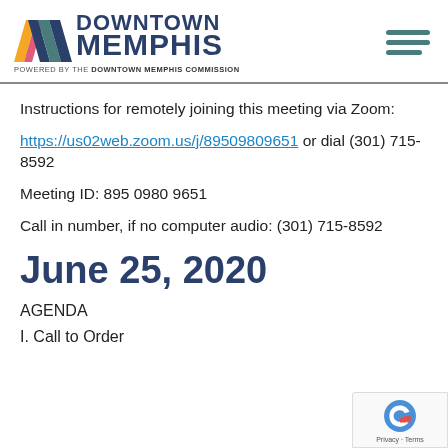[Figure (logo): Downtown Memphis logo with colored chevron/M shape and hamburger menu icon]
Instructions for remotely joining this meeting via Zoom:
https://us02web.zoom.us/j/89509809651 or dial (301) 715-8592
Meeting ID: 895 0980 9651
Call in number, if no computer audio: (301) 715-8592
June 25, 2020
AGENDA
I. Call to Order